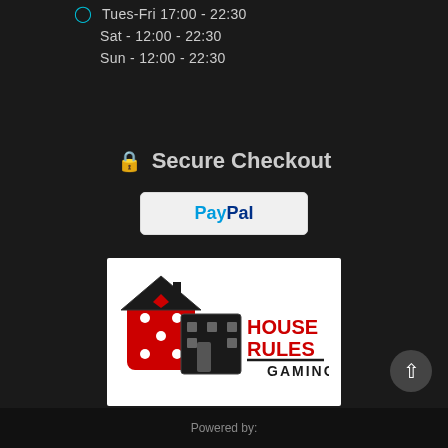Tues-Fri 17:00 - 22:30
Sat - 12:00 - 22:30
Sun - 12:00 - 22:30
Secure Checkout
[Figure (logo): PayPal payment button]
[Figure (logo): House Rules Gaming logo — red and black dice-house icon with text HOUSE RULES GAMING]
Powered by: